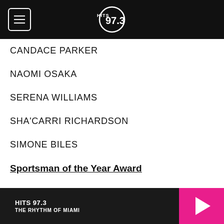HITS 97.3
CANDACE PARKER
NAOMI OSAKA
SERENA WILLIAMS
SHA'CARRI RICHARDSON
SIMONE BILES
Sportsman of the Year Award
AARON DONALD
BUBBA WALLACE
HITS 97.3 THE RHYTHM OF MIAMI